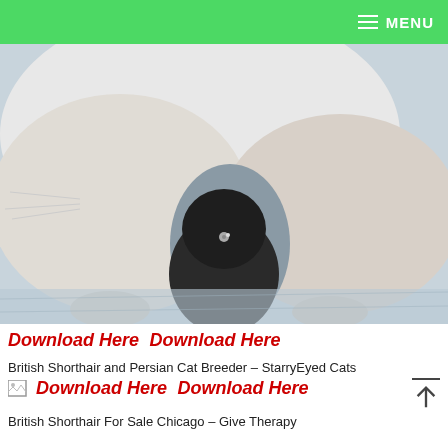MENU
[Figure (photo): Two cats — a large light-coloured cat and a small dark kitten — on a white textured surface, seen close up]
Download Here  Download Here
British Shorthair and Persian Cat Breeder – StarryEyed Cats
[Figure (photo): Small image placeholder]
Download Here  Download Here
British Shorthair For Sale Chicago – Give Therapy